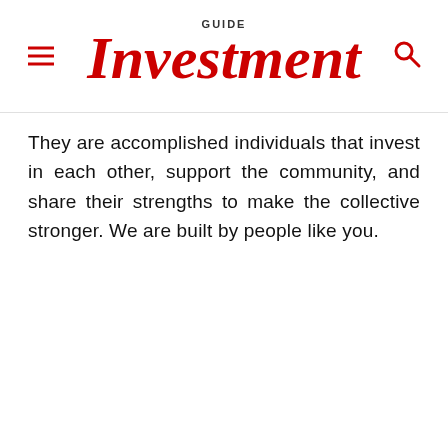GUIDE Investment
They are accomplished individuals that invest in each other, support the community, and share their strengths to make the collective stronger. We are built by people like you.